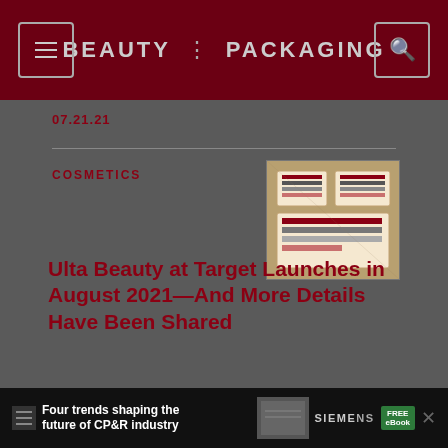BEAUTY PACKAGING
07.21.21
COSMETICS
[Figure (photo): Cosmetics product flatlay photo showing makeup palette and accessories]
Ulta Beauty at Target Launches in August 2021—And More Details Have Been Shared
The...
[Figure (other): Advertisement banner: Four trends shaping the future of CP&R industry — Siemens FREE eBook]